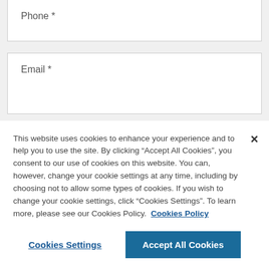Phone *
Email *
Enquiry *
This website uses cookies to enhance your experience and to help you to use the site. By clicking “Accept All Cookies”, you consent to our use of cookies on this website. You can, however, change your cookie settings at any time, including by choosing not to allow some types of cookies. If you wish to change your cookie settings, click “Cookies Settings”. To learn more, please see our Cookies Policy. Cookies Policy
Cookies Settings
Accept All Cookies